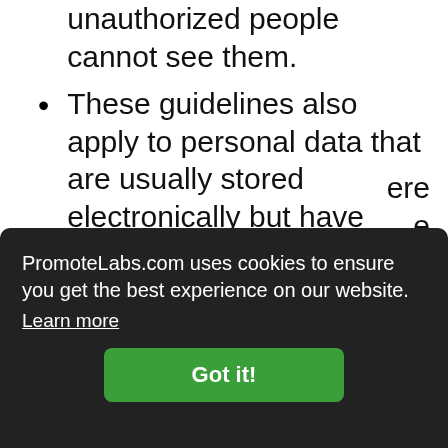unauthorized people cannot see them.
These guidelines also apply to personal data that are usually stored electronically but have been printed out for some reason:
When not required, the paper or files should be kept in a locked drawer, filing cabinet, or
ere e printers.
PromoteLabs.com uses cookies to ensure you get the best experience on our website. Learn more
Got it!